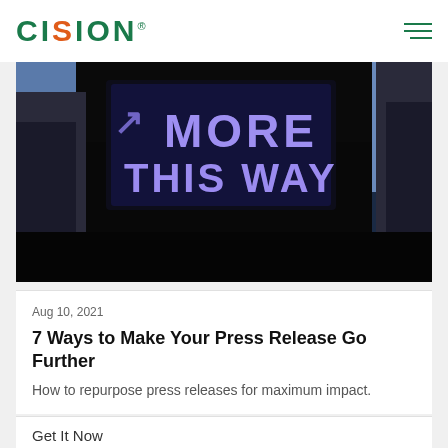CISION
[Figure (photo): Dark nighttime photo of a neon sign reading 'MORE THIS WAY' in blue/purple neon lettering against a dark building facade with sky in background]
Aug 10, 2021
7 Ways to Make Your Press Release Go Further
How to repurpose press releases for maximum impact.
Get It Now